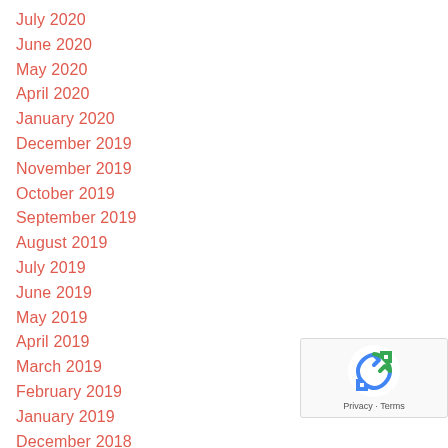July 2020
June 2020
May 2020
April 2020
January 2020
December 2019
November 2019
October 2019
September 2019
August 2019
July 2019
June 2019
May 2019
April 2019
March 2019
February 2019
January 2019
December 2018
November 2018
October 2018
[Figure (logo): reCAPTCHA badge with recycling-arrow logo and Privacy · Terms text]